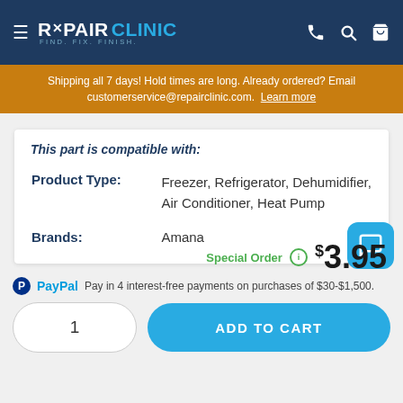REPAIR CLINIC - FIND. FIX. FINISH.
Shipping all 7 days! Hold times are long. Already ordered? Email customerservice@repairclinic.com. Learn more
This part is compatible with:
|  |  |
| --- | --- |
| Product Type: | Freezer, Refrigerator, Dehumidifier, Air Conditioner, Heat Pump |
| Brands: | Amana |
Special Order  $3.95
PayPal  Pay in 4 interest-free payments on purchases of $30-$1,500.
1
ADD TO CART